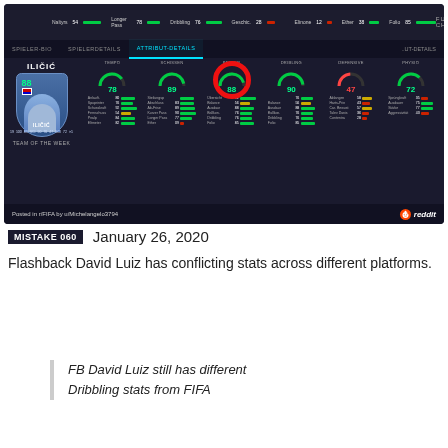[Figure (screenshot): Screenshot of FIFA FUT Champions attribute details screen showing player ILIČIĆ (Team of the Week, rating 88) with stats: TEMPO 78, SCHISSEN 89, PASSEN 88 (highlighted with red circle), DRIBLING 90, DEFENSIVE 47, PHYSIO 72. Posted in r/FIFA by u/Michelangelo3794 with Reddit branding.]
MISTAKE 060  January 26, 2020
Flashback David Luiz has conflicting stats across different platforms.
FB David Luiz still has different Dribbling stats from FIFA